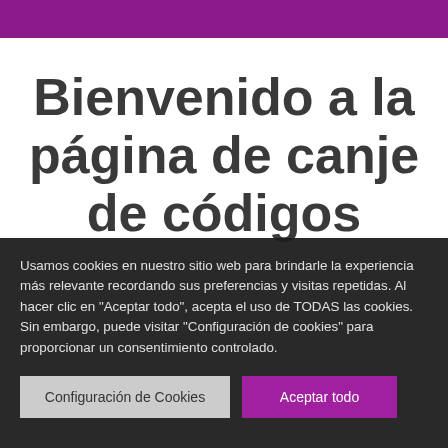Bienvenido a la página de canje de códigos
Usamos cookies en nuestro sitio web para brindarle la experiencia más relevante recordando sus preferencias y visitas repetidas. Al hacer clic en "Aceptar todo", acepta el uso de TODAS las cookies. Sin embargo, puede visitar "Configuración de cookies" para proporcionar un consentimiento controlado.
Configuración de Cookies
Aceptar todo